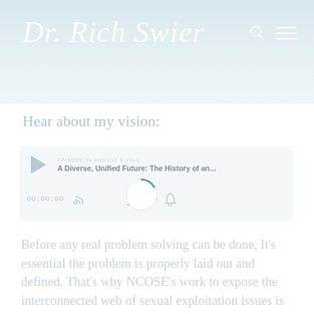Dr. Rich Swier
Hear about my vision:
[Figure (screenshot): Podcast audio player widget with play button, episode label 'EPISODE 58 AUGUST 8 2016', episode title 'A Diverse, Unified Future: The History of an...', timestamp '00:00:00', and control icons for RSS, download, embed, and share. A loading spinner/circle is shown in the center of the controls row.]
Before any real problem solving can be done, It's essential the problem is properly laid out and defined. That's why NCOSE's work to expose the interconnected web of sexual exploitation issues is so critical to achieving our vision—we cannot solve one problem while ignoring the influences and targeted nature of another.